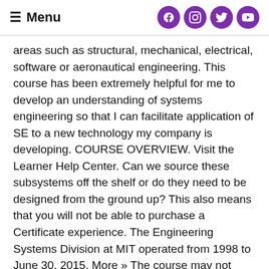≡ Menu
areas such as structural, mechanical, electrical, software or aeronautical engineering. This course has been extremely helpful for me to develop an understanding of systems engineering so that I can facilitate application of SE to a new technology my company is developing. COURSE OVERVIEW. Visit the Learner Help Center. Can we source these subsystems off the shelf or do they need to be designed from the ground up? This also means that you will not be able to purchase a Certificate experience. The Engineering Systems Division at MIT operated from 1998 to June 30, 2015. More » The course may not offer an audit option. Please check back for more information. Diploma In Systems Analysis And Design - Level 4 This Diploma in Systems Analysis and Design â Level 4 is aimed IT professionals looking to master systems analysis and design to help